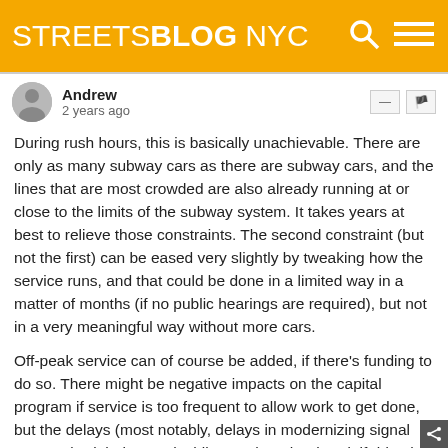STREETSBLOG NYC
Andrew
2 years ago
During rush hours, this is basically unachievable. There are only as many subway cars as there are subway cars, and the lines that are most crowded are also already running at or close to the limits of the subway system. It takes years at best to relieve those constraints. The second constraint (but not the first) can be eased very slightly by tweaking how the service runs, and that could be done in a limited way in a matter of months (if no public hearings are required), but not in a very meaningful way without more cars.
Off-peak service can of course be added, if there's funding to do so. There might be negative impacts on the capital program if service is too frequent to allow work to get done, but the delays (most notably, delays in modernizing signal systems) might be worthwhile. On the other hand, if ridership is lower than usual, this might be the best time to accelerate capital jobs.